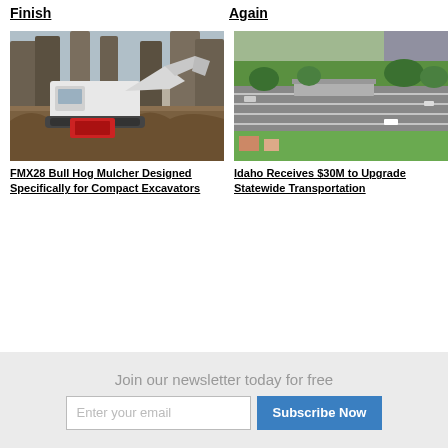Finish
Again
[Figure (photo): Compact excavator with Bull Hog mulcher attachment working in wooded/brushy terrain]
[Figure (photo): Aerial view of Idaho highway interchange with green trees and infrastructure]
FMX28 Bull Hog Mulcher Designed Specifically for Compact Excavators
Idaho Receives $30M to Upgrade Statewide Transportation
Join our newsletter today for free
Enter your email
Subscribe Now